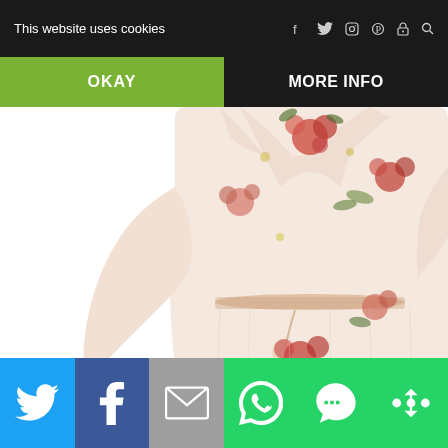This website uses cookies
OKAY
MORE INFO
[Figure (photo): A floral print dress with ruffled bell sleeves, cinched waist with tassel tie, on a white background. The fabric is a light cream/pink with red, pink, and green floral pattern.]
Social share bar with Twitter, Facebook, Email, WhatsApp, SMS, and More buttons